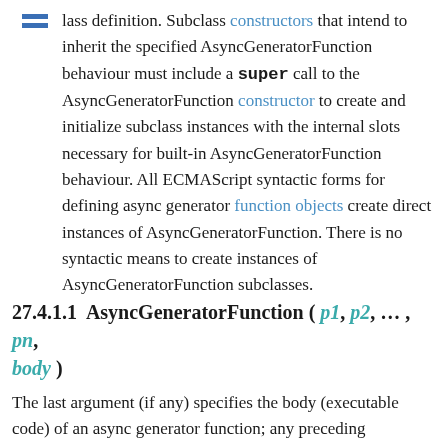lass definition. Subclass constructors that intend to inherit the specified AsyncGeneratorFunction behaviour must include a super call to the AsyncGeneratorFunction constructor to create and initialize subclass instances with the internal slots necessary for built-in AsyncGeneratorFunction behaviour. All ECMAScript syntactic forms for defining async generator function objects create direct instances of AsyncGeneratorFunction. There is no syntactic means to create instances of AsyncGeneratorFunction subclasses.
27.4.1.1 AsyncGeneratorFunction ( p1, p2, … , pn, body )
The last argument (if any) specifies the body (executable code) of an async generator function; any preceding